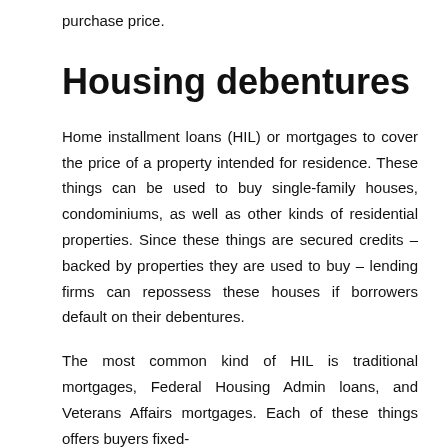purchase price.
Housing debentures
Home installment loans (HIL) or mortgages to cover the price of a property intended for residence. These things can be used to buy single-family houses, condominiums, as well as other kinds of residential properties. Since these things are secured credits – backed by properties they are used to buy – lending firms can repossess these houses if borrowers default on their debentures.
The most common kind of HIL is traditional mortgages, Federal Housing Admin loans, and Veterans Affairs mortgages. Each of these things offers buyers fixed-